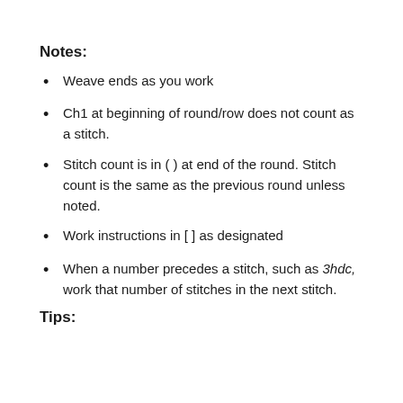Notes:
Weave ends as you work
Ch1 at beginning of round/row does not count as a stitch.
Stitch count is in ( ) at end of the round. Stitch count is the same as the previous round unless noted.
Work instructions in [ ] as designated
When a number precedes a stitch, such as 3hdc, work that number of stitches in the next stitch.
Tips: